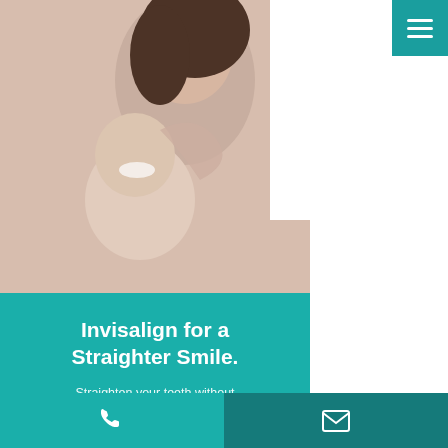[Figure (photo): Two smiling women (mother and daughter) laughing and embracing, dental/smile promotional photo]
Invisalign for a Straighter Smile.
Straighten your teeth without wires and brackets, using clear, removable aligners.
Learn More
[Figure (infographic): Bottom section with sparkle/star icon on left and envelope icons on right, partial view]
Phone icon | Email icon